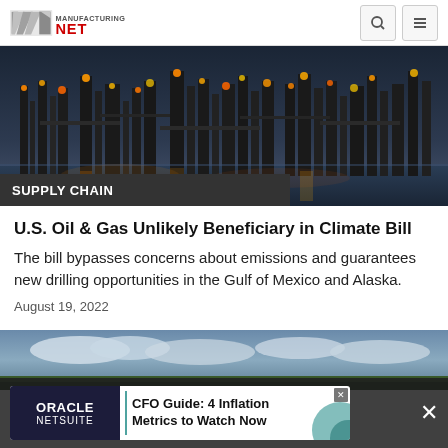Manufacturing.NET
[Figure (photo): Industrial oil refinery at dusk with illuminated pipes and towers reflected in water]
SUPPLY CHAIN
U.S. Oil & Gas Unlikely Beneficiary in Climate Bill
The bill bypasses concerns about emissions and guarantees new drilling opportunities in the Gulf of Mexico and Alaska.
August 19, 2022
[Figure (photo): Aerial landscape with fields and cloudy sky]
[Figure (other): Oracle NetSuite advertisement: CFO Guide: 4 Inflation Metrics to Watch Now]